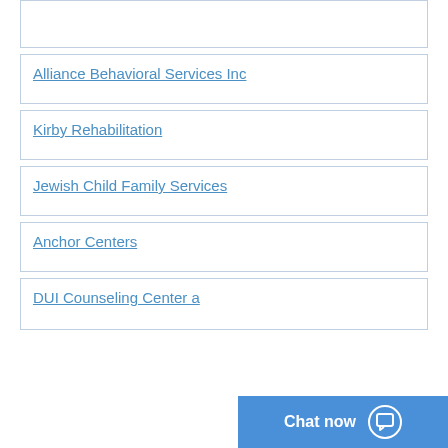Alliance Behavioral Services Inc
Kirby Rehabilitation
Jewish Child Family Services
Anchor Centers
DUI Counseling Center a...